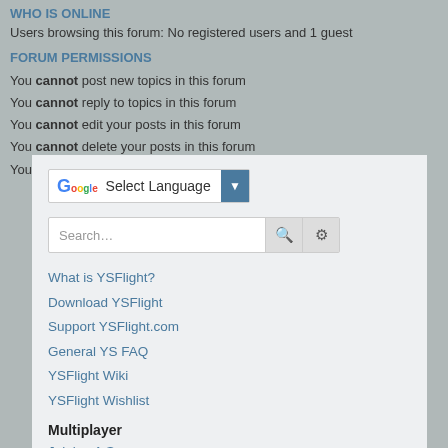WHO IS ONLINE
Users browsing this forum: No registered users and 1 guest
FORUM PERMISSIONS
You cannot post new topics in this forum
You cannot reply to topics in this forum
You cannot edit your posts in this forum
You cannot delete your posts in this forum
You cannot post attachments in this forum
[Figure (screenshot): Google Translate Select Language widget with dropdown arrow]
[Figure (screenshot): Search bar with search icon and settings gear icon]
What is YSFlight?
Download YSFlight
Support YSFlight.com
General YS FAQ
YSFlight Wiki
YSFlight Wishlist
Multiplayer
Joining A Server
Combat Standards
Discord Server
ONLINE SERVERS
187 Server (0/0) i
Violet World (0/0) i